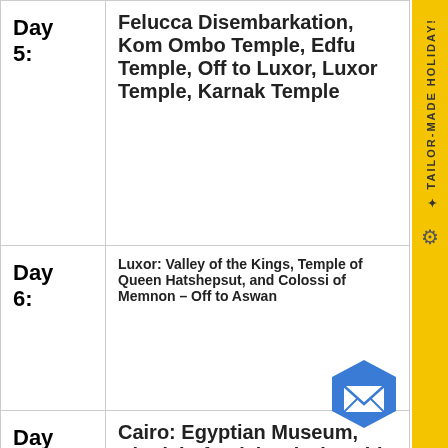| Day | Description |
| --- | --- |
| Day 5: | Felucca Disembarkation, Kom Ombo Temple, Edfu Temple, Off to Luxor, Luxor Temple, Karnak Temple |
| Day 6: | Luxor: Valley of the Kings, Temple of Queen Hatshepsut, and Colossi of Memnon – Off to Aswan |
| Day 7: | Cairo: Egyptian Museum, Citadel of Salah Ed-Din, Old Cairo, and Khan El Khalili Bazaar |
| Day 8: | Cairo to Baharyia Oasis, White and black desert |
| Day | From Baharyia Oasis to Cairo |